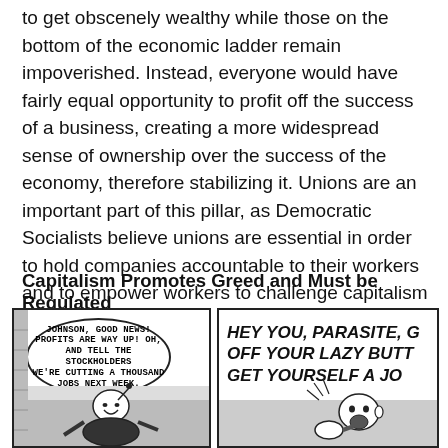to get obscenely wealthy while those on the bottom of the economic ladder remain impoverished. Instead, everyone would have fairly equal opportunity to profit off the success of a business, creating a more widespread sense of ownership over the success of the economy, therefore stabilizing it. Unions are an important part of this pillar, as Democratic Socialists believe unions are essential in order to hold companies accountable to their workers and to empower workers to challenge capitalism as a concept.
Capitalism Promotes Greed and Must be Regulated
[Figure (illustration): Two-panel comic strip. Left panel shows a speech bubble reading 'JOHNSON, GOOD NEWS! PROFITS ARE WAY UP! OH, AND TELL THE STOCKHOLDERS WE'RE CUTTING A THOUSAND JOBS NEXT WEEK.' with a fat smiling businessman figure below. Right panel shows bold italic text 'HEY YOU, PARASITE, G... OFF YOUR LAZY BUTT... GET YOURSELF A JO...' with a yelling figure below.]